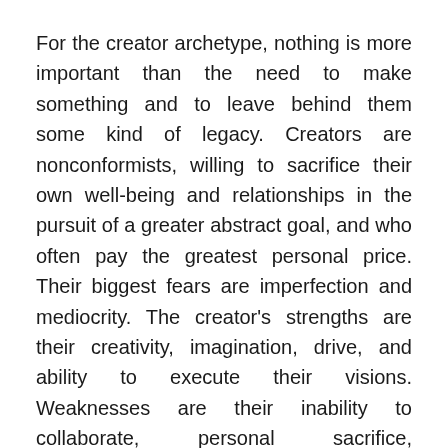For the creator archetype, nothing is more important than the need to make something and to leave behind them some kind of legacy. Creators are nonconformists, willing to sacrifice their own well-being and relationships in the pursuit of a greater abstract goal, and who often pay the greatest personal price. Their biggest fears are imperfection and mediocrity. The creator's strengths are their creativity, imagination, drive, and ability to execute their visions. Weaknesses are their inability to collaborate, personal sacrifice, perfectionism, egotism, over-eagerness, and impulsive nature. Examples include Willy Wonka, John Hammond in Jurassic Park, and Tony Stark.
Jester's AKA jokers are characters who pursue